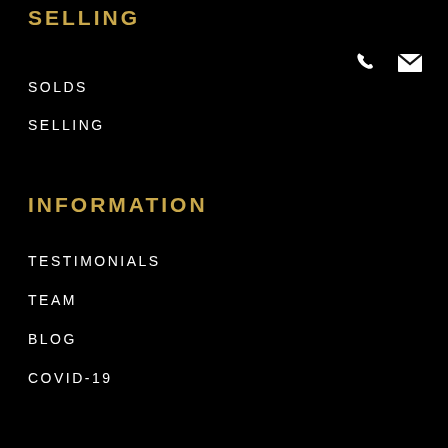SELLING
SOLDS
SELLING
[Figure (infographic): Phone and email contact icons in white, positioned upper right]
INFORMATION
TESTIMONIALS
TEAM
BLOG
COVID-19
CONTACT
LAPP REAL ESTATE GROUP
604-725-2494
hello@lapprealestategroup.com